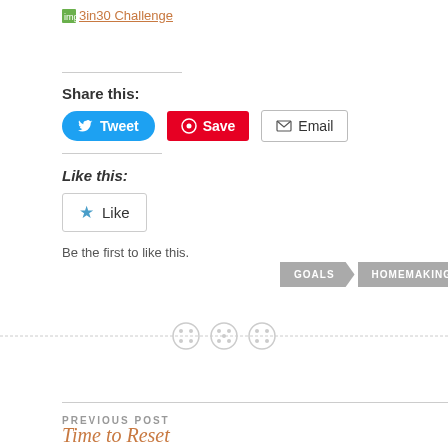[Figure (other): Link image with text '3in30 Challenge' in orange]
Share this:
[Figure (other): Social sharing buttons: Tweet (blue), Save (red Pinterest), Email (outlined)]
Like this:
[Figure (other): Like button with star icon]
Be the first to like this.
[Figure (other): Tag arrows labeled GOALS and HOMEMAKING in gray]
[Figure (other): Decorative dashed divider with three button/circle icons]
PREVIOUS POST
Time to Reset